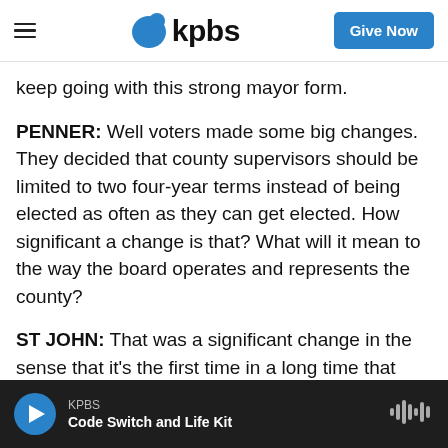KPBS — Give Now
keep going with this strong mayor form.
PENNER: Well voters made some big changes. They decided that county supervisors should be limited to two four-year terms instead of being elected as often as they can get elected. How significant a change is that? What will it mean to the way the board operates and represents the county?
ST JOHN: That was a significant change in the sense that it's the first time in a long time that we've seen the supervisors actually given a run for
KPBS — Code Switch and Life Kit